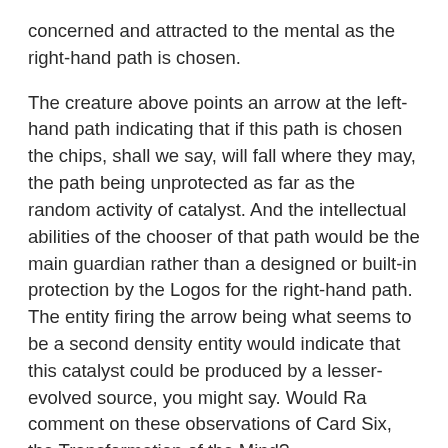concerned and attracted to the mental as the right-hand path is chosen.
The creature above points an arrow at the left-hand path indicating that if this path is chosen the chips, shall we say, will fall where they may, the path being unprotected as far as the random activity of catalyst. And the intellectual abilities of the chooser of that path would be the main guardian rather than a designed or built-in protection by the Logos for the right-hand path. The entity firing the arrow being what seems to be a second density entity would indicate that this catalyst could be produced by a lesser-evolved source, you might say. Would Ra comment on these observations of Card Six, the Transformation of the Mind?
Ra: I am Ra. We shall speak upon several aspects seriatim. Firstly, let us examine the crossed arms of the male who is to be transformed. What, O student, do you make of the crossing? What see